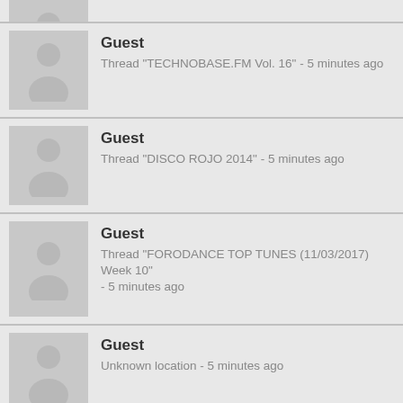Guest - (partial, top of page)
Guest - Thread "TECHNOBASE.FM Vol. 16" - 5 minutes ago
Guest - Thread "DISCO ROJO 2014" - 5 minutes ago
Guest - Thread "FORODANCE TOP TUNES (11/03/2017) Week 10" - 5 minutes ago
Guest - Unknown location - 5 minutes ago
Guest - Writing a reply in thread "FORODANCE TOP TUNES (12/05/2018) Week 19" - 5 minutes ago
Guest - Thread "HAUX - Heartbeat" - 5 minutes ago
Guest - (partial, bottom of page)